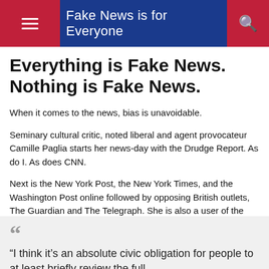Fake News is for Everyone
Everything is Fake News. Nothing is Fake News.
When it comes to the news, bias is unavoidable.
Seminary cultural critic, noted liberal and agent provocateur Camille Paglia starts her news-day with the Drudge Report. As do I. As does CNN.
Next is the New York Post, the New York Times, and the Washington Post online followed by opposing British outlets, The Guardian and The Telegraph. She is also a user of the Google News keyword search function.
“I think it’s an absolute civic obligation for people to at least briefly review the full